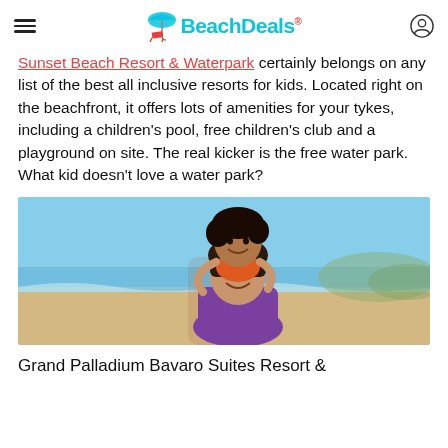BeachDeals
Sunset Beach Resort & Waterpark certainly belongs on any list of the best all inclusive resorts for kids. Located right on the beachfront, it offers lots of amenities for your tykes, including a children's pool, free children's club and a playground on site. The real kicker is the free water park. What kid doesn't love a water park?
[Figure (photo): Two smiling girls at the beach, one giving the other a piggyback ride. Clear blue sky and ocean in the background.]
Grand Palladium Bavaro Suites Resort &